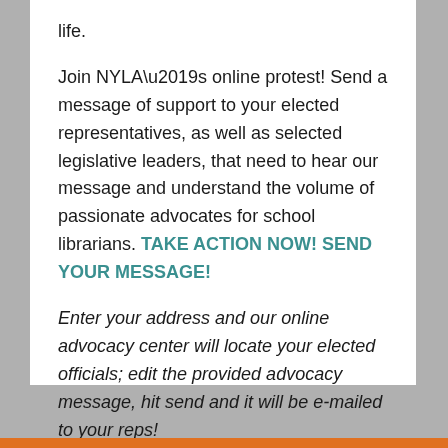life.
Join NYLA’s online protest! Send a message of support to your elected representatives, as well as selected legislative leaders, that need to hear our message and understand the volume of passionate advocates for school librarians. TAKE ACTION NOW! SEND YOUR MESSAGE!
Enter your address and our online advocacy center will locate your elected officials; edit the provided advocacy message, hit send and it will be e-mailed to your reps!